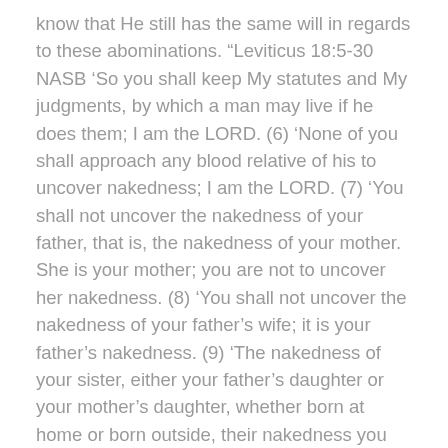know that He still has the same will in regards to these abominations. “Leviticus 18:5-30 NASB ‘So you shall keep My statutes and My judgments, by which a man may live if he does them; I am the LORD. (6) ‘None of you shall approach any blood relative of his to uncover nakedness; I am the LORD. (7) ‘You shall not uncover the nakedness of your father, that is, the nakedness of your mother. She is your mother; you are not to uncover her nakedness. (8) ‘You shall not uncover the nakedness of your father’s wife; it is your father’s nakedness. (9) ‘The nakedness of your sister, either your father’s daughter or your mother’s daughter, whether born at home or born outside, their nakedness you shall not uncover. (10) ‘The nakedness of your son’s daughter or your daughter’s daughter, their nakedness you shall not uncover; for their nakedness is yours. (11) ‘The nakedness of your father’s wife’s daughter, born to your father, she is your sister, you shall not uncover her nakedness. (12) ‘You shall not